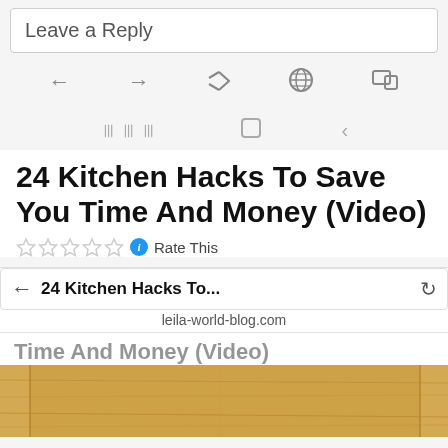Leave a Reply
[Figure (screenshot): Mobile browser navigation bar with back, forward, share, globe, and cast icons]
[Figure (screenshot): Android bottom navigation bar with menu, home, and back icons]
24 Kitchen Hacks To Save You Time And Money (Video)
Rate This
[Figure (screenshot): Mobile browser address bar overlay showing '24 Kitchen Hacks To...' and 'leila-world-blog.com']
Time And Money (Video)
[Figure (photo): Wooden cutting board or kitchen surface, golden/tan wood texture]